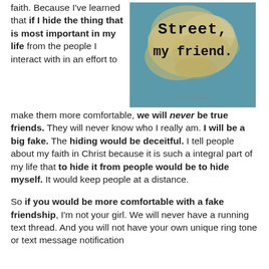faith. Because I've learned that if I hide the thing that is most important in my life from the people I interact with in an effort to make them more comfortable, we will never be true friends. They will never know who I really am. I will be a big fake. The hiding would be deceitful. I tell people about my faith in Christ because it is such a integral part of my life that to hide it from people would be to hide myself. It would keep people at a distance.
[Figure (illustration): A textured teal/blue background with the text 'Street, my friend.' written in a typewriter-style font, with peeling or flaky texture overlay. Small watermark at the bottom.]
So if you would be more comfortable with a fake friendship, I'm not your girl. We will never have a running text thread. And you will not have your own unique ring tone or text message notification